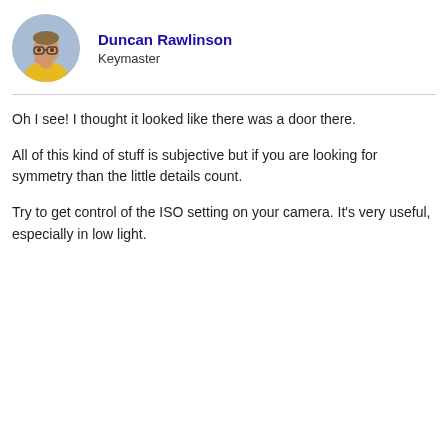[Figure (photo): Circular avatar photo of Duncan Rawlinson, a man in a yellow shirt with glasses, photographed from the shoulders up.]
Duncan Rawlinson
Keymaster
Oh I see! I thought it looked like there was a door there.
All of this kind of stuff is subjective but if you are looking for symmetry than the little details count.
Try to get control of the ISO setting on your camera. It's very useful, especially in low light.